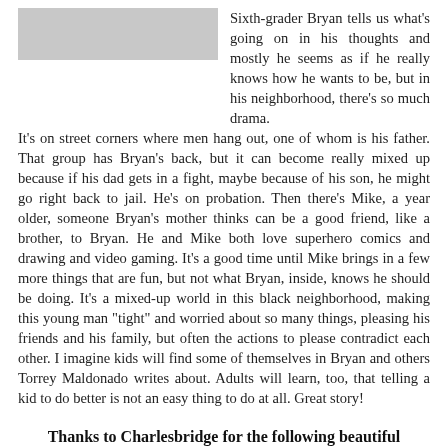[Figure (photo): Partial view of a book cover image, gray/faded at top left]
Sixth-grader Bryan tells us what's going on in his thoughts and mostly he seems as if he really knows how he wants to be, but in his neighborhood, there's so much drama. It's on street corners where men hang out, one of whom is his father. That group has Bryan's back, but it can become really mixed up because if his dad gets in a fight, maybe because of his son, he might go right back to jail. He's on probation. Then there's Mike, a year older, someone Bryan's mother thinks can be a good friend, like a brother, to Bryan. He and Mike both love superhero comics and drawing and video gaming. It's a good time until Mike brings in a few more things that are fun, but not what Bryan, inside, knows he should be doing. It's a mixed-up world in this black neighborhood, making this young man "tight" and worried about so many things, pleasing his friends and his family, but often the actions to please contradict each other. I imagine kids will find some of themselves in Bryan and others Torrey Maldonado writes about. Adults will learn, too, that telling a kid to do better is not an easy thing to do at all. Great story!
Thanks to Charlesbridge for the following beautiful picture books!